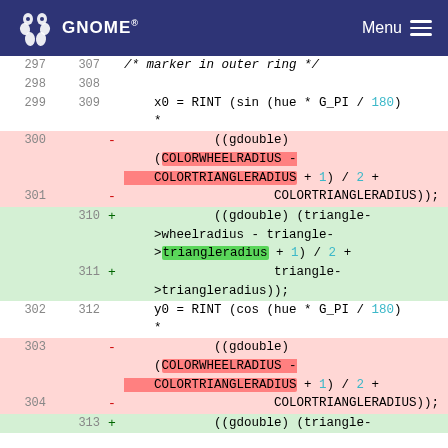GNOME  Menu
[Figure (screenshot): Code diff view showing changes to color wheel radius and triangle radius calculations in C code. Lines 297-313 shown with deletions (pink) and additions (green).]